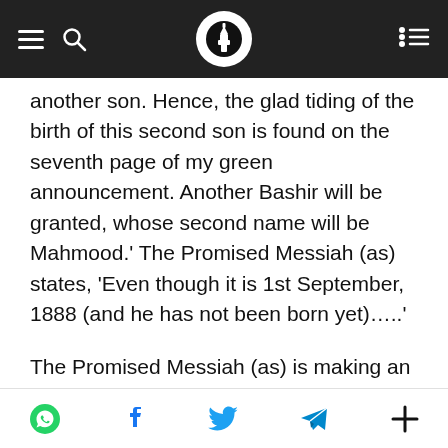[Navigation bar with hamburger menu, search icon, logo, and list icon]
another son. Hence, the glad tiding of the birth of this second son is found on the seventh page of my green announcement. Another Bashir will be granted, whose second name will be Mahmood.' The Promised Messiah (as) states, 'Even though it is 1st September, 1888 (and he has not been born yet)…..'
The Promised Messiah (as) is making an announcement in September 1888 stating, 'Even though it is 1st September and he has not been born yet, he will most certainly be born within the appointed time in
[Share icons: WhatsApp, Facebook, Twitter, Telegram, More]